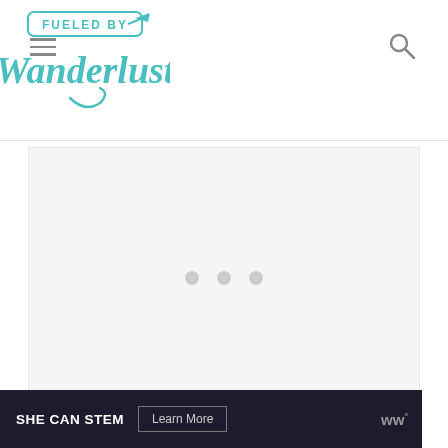Fueled by Wanderlust
[Figure (other): Advertisement placeholder with three grey dots centered in a light grey box]
#13 – Do a Spooky Tour
[Figure (other): SHE CAN STEM advertisement banner with Learn More button and WW logo]